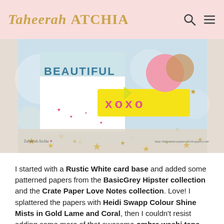Taheerah ATCHIA
[Figure (photo): Craft card photograph showing a handmade card with 'BEAUTIFUL' text, yellow banner with 'xoxo', pink glitter circles, gold stars, hearts, and decorative elements on a bokeh background. Watermarks read 'Taheerah Atchia' and 'http://littlemissi-papercraft.blogspot.com/']
I started with a Rustic White card base and added some patterned papers from the BasicGrey Hipster collection and the Crate Paper Love Notes collection. Love! I splattered the papers with Heidi Swapp Colour Shine Mists in Gold Lame and Coral, then I couldn't resist adding some more of that awesome ombre washi tape